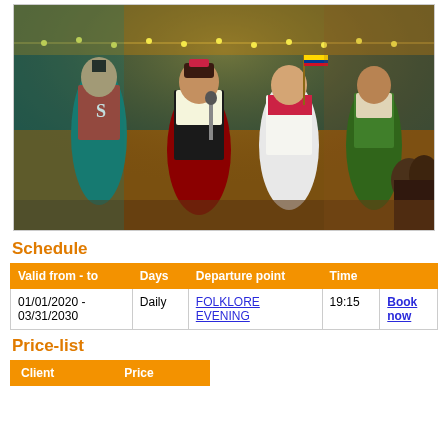[Figure (photo): Folklore evening performers in traditional costumes on a stage, woman singing into microphone, man holding a small flag, colorful lights in background]
Schedule
| Valid from - to | Days | Departure point | Time |  |
| --- | --- | --- | --- | --- |
| 01/01/2020 - 03/31/2030 | Daily | FOLKLORE EVENING | 19:15 | Book now |
Price-list
| Client | Price |
| --- | --- |